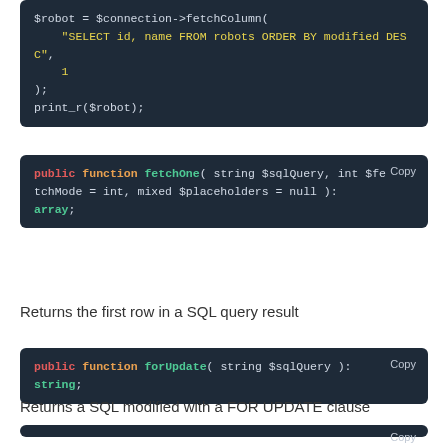[Figure (screenshot): Code block showing PHP fetchColumn call with SQL query and print_r output]
[Figure (screenshot): Code block showing PHP public function fetchOne signature with parameters and return type array]
Returns the first row in a SQL query result
[Figure (screenshot): Code block showing PHP public function forUpdate signature with string parameter and return type string]
Returns a SQL modified with a FOR UPDATE clause
[Figure (screenshot): Code block partially visible at bottom, showing Copy label]